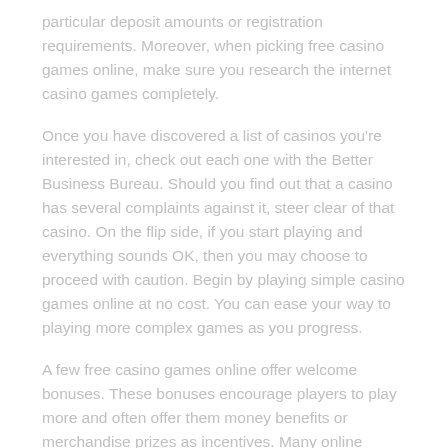particular deposit amounts or registration requirements. Moreover, when picking free casino games online, make sure you research the internet casino games completely.
Once you have discovered a list of casinos you're interested in, check out each one with the Better Business Bureau. Should you find out that a casino has several complaints against it, steer clear of that casino. On the flip side, if you start playing and everything sounds OK, then you may choose to proceed with caution. Begin by playing simple casino games online at no cost. You can ease your way to playing more complex games as you progress.
A few free casino games online offer welcome bonuses. These bonuses encourage players to play more and often offer them money benefits or merchandise prizes as incentives. Many online casinos offer welcome bonuses in different denominations. A little cash bonus is quite useful once you're just starting to play. But some welcome